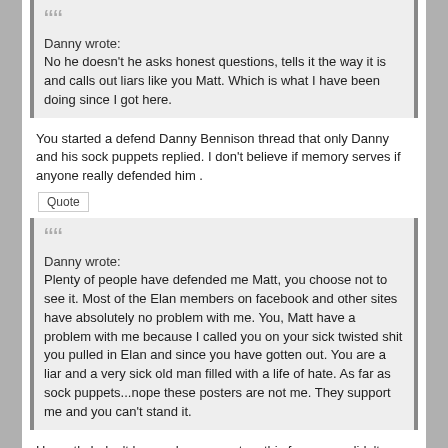Danny wrote:
No he doesn't he asks honest questions, tells it the way it is and calls out liars like you Matt. Which is what I have been doing since I got here.
You started a defend Danny Bennison thread that only Danny and his sock puppets replied. I don't believe if memory serves if anyone really defended him .
Quote
Danny wrote:
Plenty of people have defended me Matt, you choose not to see it. Most of the Elan members on facebook and other sites have absolutely no problem with me. You, Matt have a problem with me because I called you on your sick twisted shit you pulled in Elan and since you have gotten out. You are a liar and a very sick old man filled with a life of hate. As far as sock puppets...nope these posters are not me. They support me and you can't stand it.
Honestly I  don't know why you post on this forum you didn't go to Elan (unless you are another sock of Danny's) and I really don't care if you are a sock of Danny Bennison's ,it doesn't matter anyway .
Quote